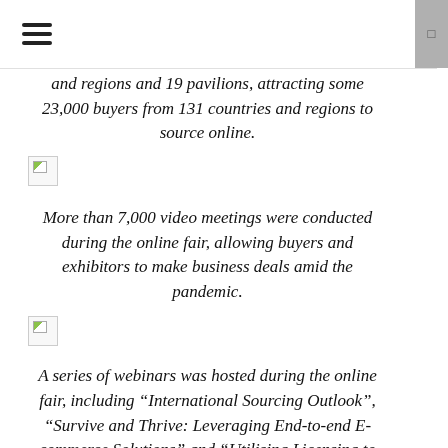≡
and regions and 19 pavilions, attracting some 23,000 buyers from 131 countries and regions to source online.
[Figure (photo): Broken image placeholder icon]
More than 7,000 video meetings were conducted during the online fair, allowing buyers and exhibitors to make business deals amid the pandemic.
[Figure (photo): Broken image placeholder icon]
A series of webinars was hosted during the online fair, including “International Sourcing Outlook”, “Survive and Thrive: Leveraging End-to-end E-commerce Solutions” and “Utilising Licensing to Expand Your Business”. These webinars attracted thousands of participants.